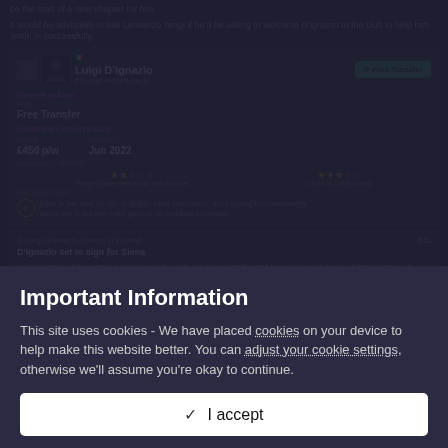be the start of a new chapter for him.
It would be advisable to ask Leonardo Terigi if he'd be willing to welcome D'Ignazio to the club to help him settle in successfully.
[Figure (screenshot): Football Manager UI showing player card for Luigi D'Ignazio, 23-year-old left-back, with Free Transfer button, offer made section showing Free Transfer, current contract showing £450 p/w wage expiring Jun 2022, assistant report with 2 gold stars out of 5 (Fringe player who could still improve) and 3 gold stars out of 5 (Close to full potential), fan reaction section.]
[Figure (screenshot): Football Manager news panel showing message from Giorgio Pennachi (Director of Football): D'Ignazio set to sign for Siena. Luigi D'Ignazio has agreed a deal to join the club. Head Physio Giulio Leonardi has given Luigi D'Ignazio a clean bill of health after the player cleared his medical without any immediate...]
Important Information
This site uses cookies - We have placed cookies on your device to help make this website better. You can adjust your cookie settings, otherwise we'll assume you're okay to continue.
I accept